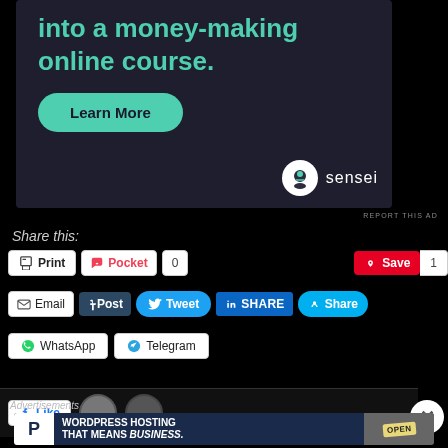[Figure (screenshot): Advertisement banner with dark navy background showing text 'into a money-making online course.' in teal, a green 'Learn More' button, and the Sensei logo (white circle with tree icon and 'sensei' text) at bottom right.]
REPORT THIS AD
Share this:
[Figure (screenshot): Social sharing buttons row 1: Print button, Pocket button with heart icon and count '0', Pinterest Save button in red, count '1']
[Figure (screenshot): Social sharing buttons row 2: Email, Post (Tumblr), Tweet (Twitter), SHARE (LinkedIn), Share (Skype)]
[Figure (screenshot): Social sharing buttons row 3: WhatsApp, Telegram]
[Figure (screenshot): Bottom Facebook Like bar with two profile photo avatars and a close X button]
Advertisements
[Figure (screenshot): WordPress hosting advertisement banner: dark blue background with 'P' icon, text 'WORDPRESS HOSTING THAT MEANS BUSINESS.' and an 'OPEN' sign photo on right side]